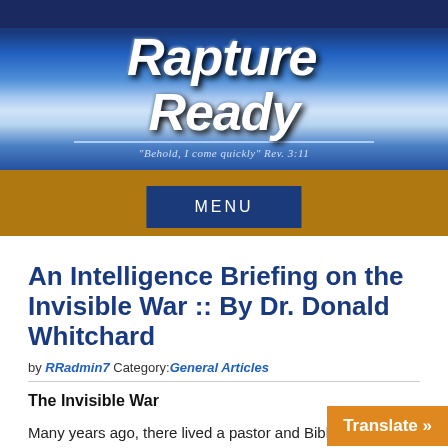[Figure (logo): Rapture Ready website banner with blue sky background, logo text 'Rapture Ready' in white italic bold, tagline 'Behold, I come quickly Rev. 3:11']
MENU
An Intelligence Briefing on the Invisible War :: By Dr. Donald Whitchard
by RRadmin7 Category:General Articles
The Invisible War
Many years ago, there lived a pastor and Bible teacher by the name of Donald Grey Barnhouse, who served as pastor of the Tenth Avenue Presbyterian Church in Philadelphia from 1927 until his death in 1960. He led t